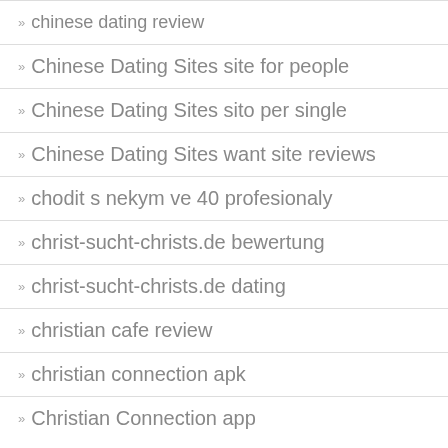» chinese dating review
» Chinese Dating Sites site for people
» Chinese Dating Sites sito per single
» Chinese Dating Sites want site reviews
» chodit s nekym ve 40 profesionaly
» christ-sucht-christs.de bewertung
» christ-sucht-christs.de dating
» christian cafe review
» christian connection apk
» Christian Connection app